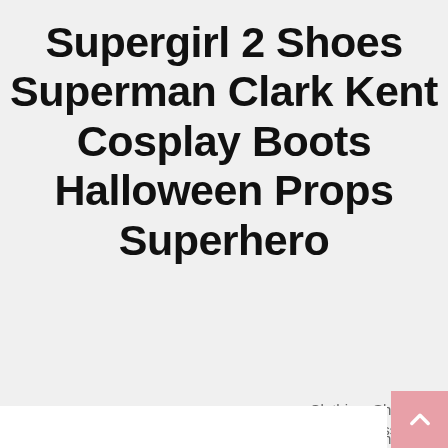Supergirl 2 Shoes Superman Clark Kent Cosplay Boots Halloween Props Superhero
Clothing, Shoes & Accessories
Costumes, Reenactment, Theater
Accessories
Shoes & Footwear
Supergirl 2 Shoes
Superman Clark Kent Cosplay Boots Halloween Props Superhero